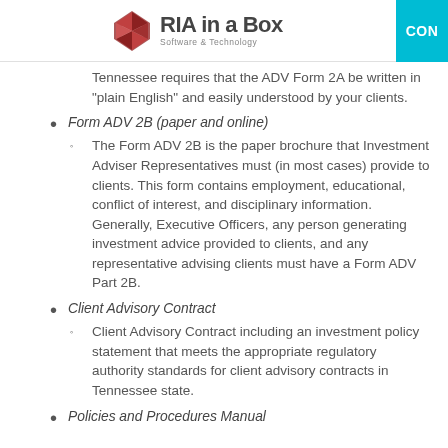RIA in a Box — Software & Technology
well as several other Firm details. The Form ADV 2A must be provided to all Clients and Prospects. The state of Tennessee requires that the ADV Form 2A be written in "plain English" and easily understood by your clients.
Form ADV 2B (paper and online)
The Form ADV 2B is the paper brochure that Investment Adviser Representatives must (in most cases) provide to clients. This form contains employment, educational, conflict of interest, and disciplinary information. Generally, Executive Officers, any person generating investment advice provided to clients, and any representative advising clients must have a Form ADV Part 2B.
Client Advisory Contract
Client Advisory Contract including an investment policy statement that meets the appropriate regulatory authority standards for client advisory contracts in Tennessee state.
Policies and Procedures Manual